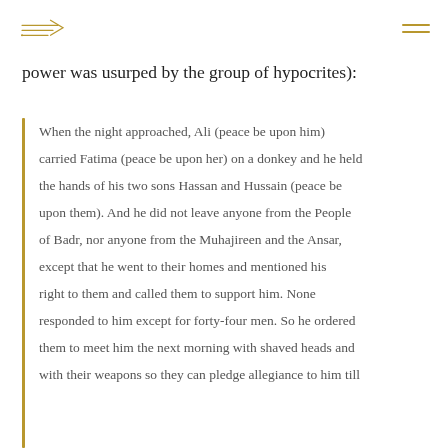[logo] [navigation menu icon]
power was usurped by the group of hypocrites):
When the night approached, Ali (peace be upon him) carried Fatima (peace be upon her) on a donkey and he held the hands of his two sons Hassan and Hussain (peace be upon them). And he did not leave anyone from the People of Badr, nor anyone from the Muhajireen and the Ansar, except that he went to their homes and mentioned his right to them and called them to support him. None responded to him except for forty-four men. So he ordered them to meet him the next morning with shaved heads and with their weapons so they can pledge allegiance to him till